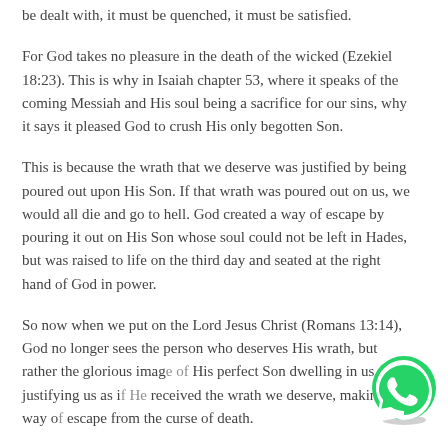be dealt with, it must be quenched, it must be satisfied.
For God takes no pleasure in the death of the wicked (Ezekiel 18:23). This is why in Isaiah chapter 53, where it speaks of the coming Messiah and His soul being a sacrifice for our sins, why it says it pleased God to crush His only begotten Son.
This is because the wrath that we deserve was justified by being poured out upon His Son. If that wrath was poured out on us, we would all die and go to hell. God created a way of escape by pouring it out on His Son whose soul could not be left in Hades, but was raised to life on the third day and seated at the right hand of God in power.
So now when we put on the Lord Jesus Christ (Romans 13:14), God no longer sees the person who deserves His wrath, but rather the glorious image of His perfect Son dwelling in us, justifying us as if He received the wrath we deserve, making a way of escape from the curse of death.
[Figure (logo): WhatsApp green circular icon button]